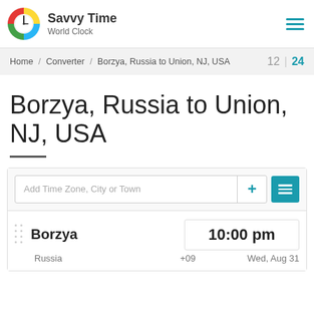Savvy Time World Clock
Home / Converter / Borzya, Russia to Union, NJ, USA   12 | 24
Borzya, Russia to Union, NJ, USA
Add Time Zone, City or Town
Borzya  10:00 pm  Russia  +09  Wed, Aug 31